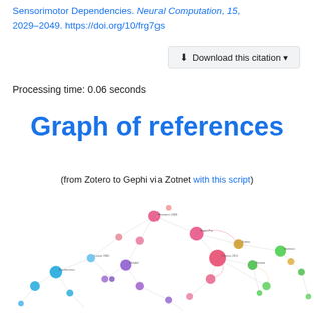Sensorimotor Dependencies. Neural Computation, 15, 2029–2049. https://doi.org/10/frg7gs
[Figure (other): Download this citation button]
Processing time: 0.06 seconds
Graph of references
(from Zotero to Gephi via Zotnet with this script)
[Figure (network-graph): A network graph of references showing nodes of various colors (pink, blue, green, yellow, purple) connected by lines representing citation relationships between academic papers.]